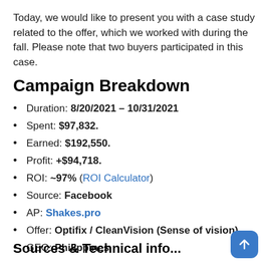Today, we would like to present you with a case study related to the offer, which we worked with during the fall. Please note that two buyers participated in this case.
Campaign Breakdown
Duration: 8/20/2021 – 10/31/2021
Spent: $97,832.
Earned: $192,550.
Profit: +$94,718.
ROI: ~97% (ROI Calculator)
Source: Facebook
AP: Shakes.pro
Offer: Optifix / CleanVision (Sense of vision)
GEO: Philippines
Sources & Technical info...